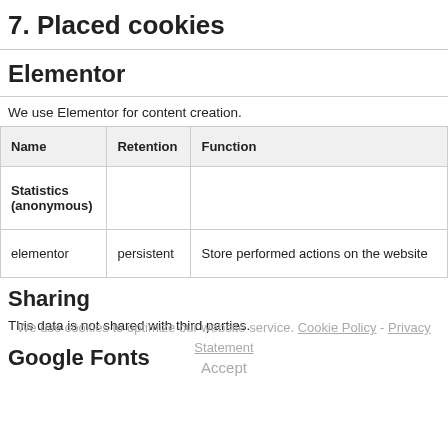7. Placed cookies
Elementor
We use Elementor for content creation.
| Name | Retention | Function |
| --- | --- | --- |
| Statistics (anonymous) |  |  |
| elementor | persistent | Store performed actions on the website |
Sharing
This data is not shared with third parties.
Google Fonts